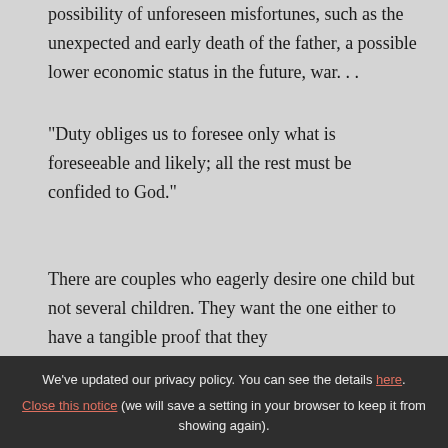possibility of unforeseen misfortunes, such as the unexpected and early death of the father, a possible lower economic status in the future, war. . .
"Duty obliges us to foresee only what is foreseeable and likely; all the rest must be confided to God."
There are couples who eagerly desire one child but not several children. They want the one either to have a tangible proof that they
We've updated our privacy policy. You can see the details here. Close this notice (we will save a setting in your browser to keep it from showing again).